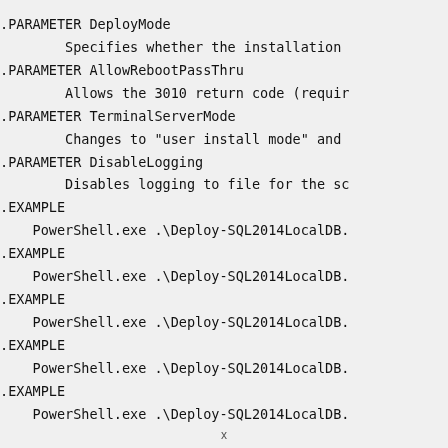.PARAMETER DeployMode
        Specifies whether the installation
.PARAMETER AllowRebootPassThru
        Allows the 3010 return code (requir
.PARAMETER TerminalServerMode
        Changes to "user install mode" and
.PARAMETER DisableLogging
        Disables logging to file for the sc
.EXAMPLE
    PowerShell.exe .\Deploy-SQL2014LocalDB.
.EXAMPLE
    PowerShell.exe .\Deploy-SQL2014LocalDB.
.EXAMPLE
    PowerShell.exe .\Deploy-SQL2014LocalDB.
.EXAMPLE
    PowerShell.exe .\Deploy-SQL2014LocalDB.
.EXAMPLE
    PowerShell.exe .\Deploy-SQL2014LocalDB
x